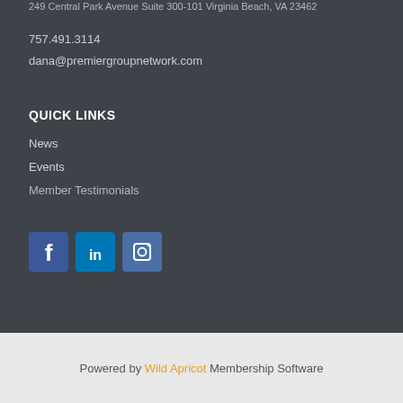249 Central Park Avenue Suite 300-101 Virginia Beach, VA 23462
757.491.3114
dana@premiergroupnetwork.com
QUICK LINKS
News
Events
Member Testimonials
[Figure (other): Social media icons: Facebook, LinkedIn, Instagram]
Powered by Wild Apricot Membership Software